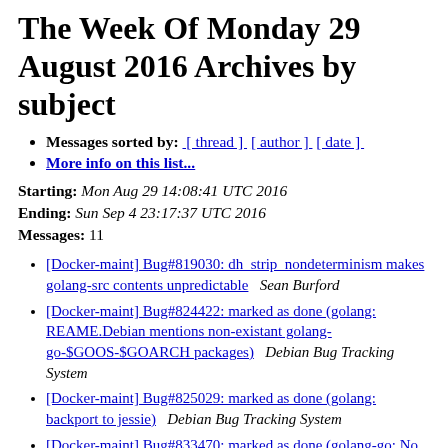The Week Of Monday 29 August 2016 Archives by subject
Messages sorted by: [ thread ] [ author ] [ date ]
More info on this list...
Starting: Mon Aug 29 14:08:41 UTC 2016
Ending: Sun Sep 4 23:17:37 UTC 2016
Messages: 11
[Docker-maint] Bug#819030: dh_strip_nondeterminism makes golang-src contents unpredictable   Sean Burford
[Docker-maint] Bug#824422: marked as done (golang: REAME.Debian mentions non-existant golang-go-$GOOS-$GOARCH packages)   Debian Bug Tracking System
[Docker-maint] Bug#825029: marked as done (golang: backport to jessie)   Debian Bug Tracking System
[Docker-maint] Bug#833470: marked as done (golang-go: No reasonable default for GOPATH?)   Debian Bug Tracking System